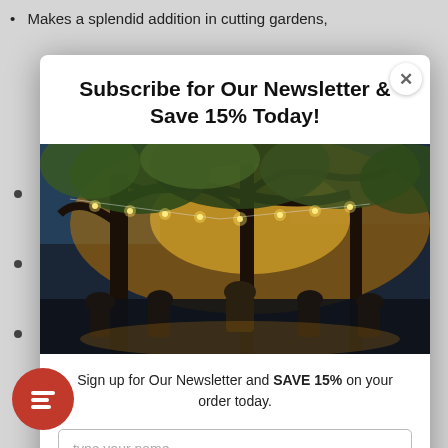Makes a splendid addition in cutting gardens,
Subscribe for Our Newsletter & Save 15% Today!
[Figure (photo): Night outdoor garden scene with string lights hanging from large trees, people gathered below in warm amber light]
Sign up for Our Newsletter and SAVE 15% on your order today.
type your name